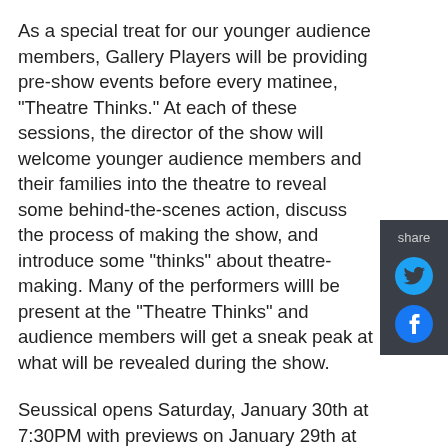As a special treat for our younger audience members, Gallery Players will be providing pre-show events before every matinee, "Theatre Thinks." At each of these sessions, the director of the show will welcome younger audience members and their families into the theatre to reveal some behind-the-scenes action, discuss the process of making the show, and introduce some "thinks" about theatre-making. Many of the performers willl be present at the "Theatre Thinks" and audience members will get a sneak peak at what will be revealed during the show.
Seussical opens Saturday, January 30th at 7:30PM with previews on January 29th at 7:30pm and January 30th at 2:00PM. Seussical will run for 16 performances through Sunday, February 21st, 2016. Performances will be held Friday and Saturday evenings at 7:30PM, Saturday matinoes at 2:00PM